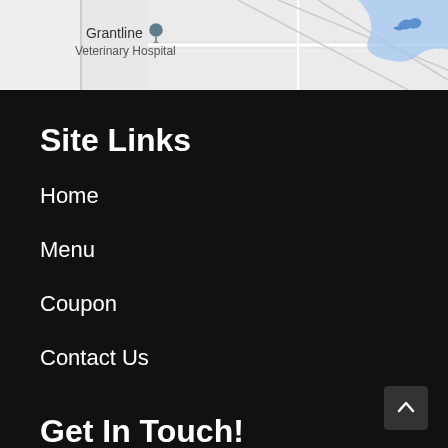[Figure (map): Google Maps screenshot showing location pin for Grantline Veterinary Hospital, with road map features and blue river/water visible on the right side]
Site Links
Home
Menu
Coupon
Contact Us
Get In Touch!
8970 Grant Line Rd,